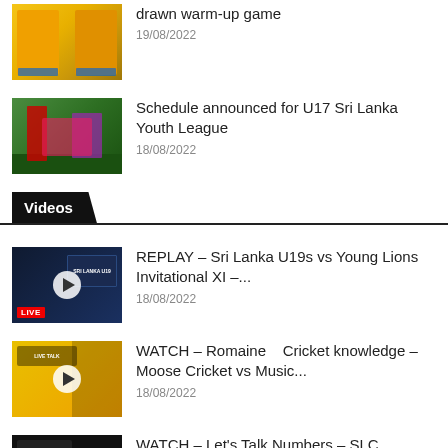[Figure (photo): Two cricket players in yellow uniforms]
drawn warm-up game
19/08/2022
[Figure (photo): Cricket match with players in pink and blue]
Schedule announced for U17 Sri Lanka Youth League
18/08/2022
Videos
[Figure (photo): Video thumbnail: Sri Lanka U19s vs Young Lions with LIVE badge]
REPLAY – Sri Lanka U19s vs Young Lions Invitational XI –...
18/08/2022
[Figure (photo): Video thumbnail: Interview, yellow background]
WATCH – Romaine    Cricket knowledge – Moose Cricket vs Music...
18/08/2022
[Figure (photo): Video thumbnail: Let's Talk Numbers - SLC dark background]
WATCH – Let's Talk Numbers – SLC